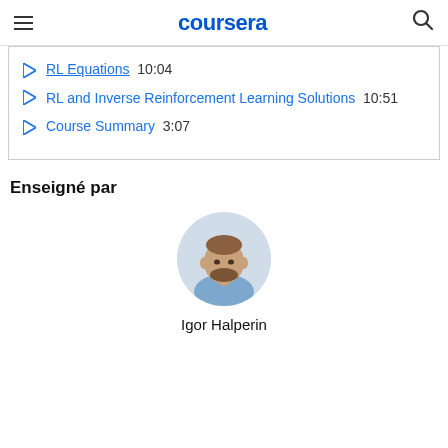coursera
RL Equations  10:04
RL and Inverse Reinforcement Learning Solutions  10:51
Course Summary  3:07
Enseigné par
[Figure (photo): Circular portrait photo of instructor Igor Halperin]
Igor Halperin